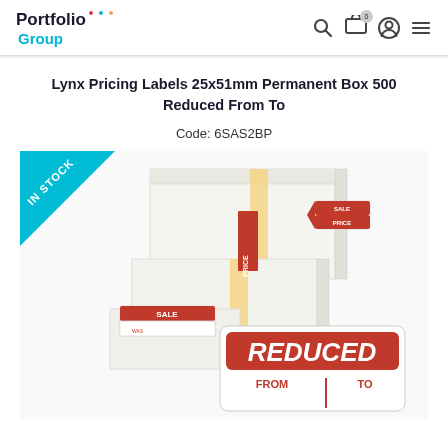Portfolio Group — navigation header with search, cart, account, and menu icons
Lynx Pricing Labels 25x51mm Permanent Box 500 Reduced From To
Code: 6SAS2BP
[Figure (photo): Product photo showing boxes of Lynx pricing labels with sample labels displayed: a SALE label, a PRICE label, a SALE PRICE arrow label, and a large REDUCED FROM | TO label. An 'IN STOCK' teal diagonal badge appears in the top-left corner of the image.]